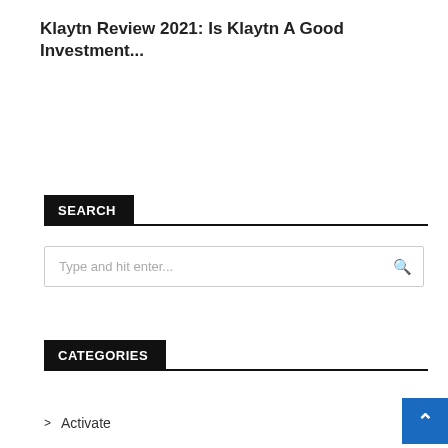Klaytn Review 2021: Is Klaytn A Good Investment...
SEARCH
Type and hit enter...
CATEGORIES
Activate